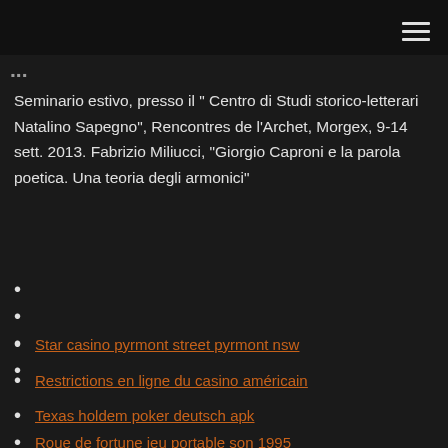[hamburger menu icon]
Seminario estivo, presso il " Centro di Studi storico-letterari Natalino Sapegno", Rencontres de l'Archet, Morgex, 9-14 sett. 2013. Fabrizio Miliucci, "Giorgio Caproni e la parola poetica. Una teoria degli armonici"
Star casino pyrmont street pyrmont nsw
Restrictions en ligne du casino américain
Texas holdem poker deutsch apk
Roue de fortune jeu portable son 1995